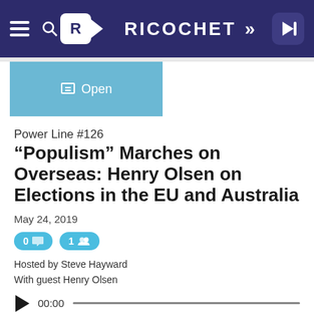RICOCHET
[Figure (logo): Ricochet website header with hamburger menu, search icon, R logo badge, RICOCHET text with double chevron, and login arrow button on dark navy background]
Open
Power Line #126
“Populism” Marches on Overseas: Henry Olsen on Elections in the EU and Australia
May 24, 2019
0 comments  1 members
Hosted by Steve Hayward
With guest Henry Olsen
00:00